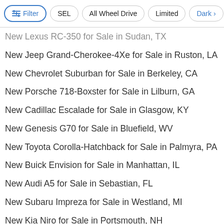Filter | SEL | All Wheel Drive | Limited | Dark >
New Lexus RC-350 for Sale in Sudan, TX
New Jeep Grand-Cherokee-4Xe for Sale in Ruston, LA
New Chevrolet Suburban for Sale in Berkeley, CA
New Porsche 718-Boxster for Sale in Lilburn, GA
New Cadillac Escalade for Sale in Glasgow, KY
New Genesis G70 for Sale in Bluefield, WV
New Toyota Corolla-Hatchback for Sale in Palmyra, PA
New Buick Envision for Sale in Manhattan, IL
New Audi A5 for Sale in Sebastian, FL
New Subaru Impreza for Sale in Westland, MI
New Kia Niro for Sale in Portsmouth, NH
New Infiniti Q60 for Sale in Brunswick, OH
Used Land-Rover Defender in Union City, GA
New Infiniti QX55 for Sale in San Carlos, CA
New Mercedes-Benz Sprinter for Sale in Georgetown, SC
New BMW X3-M for Sale in Smithfield, VA
New Porsche 911 for Sale in San Jose, CA